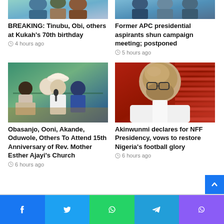[Figure (photo): Top portion of a news article image showing people (cropped, top row left card)]
BREAKING: Tinubu, Obi, others at Kukah's 70th birthday
4 hours ago
[Figure (photo): Top portion of a news article image showing people (cropped, top row right card)]
Former APC presidential aspirants shun campaign meeting; postponed
5 hours ago
[Figure (photo): Group of people seated at a table at an event, man in white traditional attire with feathered hat speaking into microphone]
Obasanjo, Ooni, Akande, Oduwole, Others To Attend 15th Anniversary of Rev. Mother Esther Ajayi's Church
6 hours ago
[Figure (photo): Portrait of a bald man with glasses wearing a white shirt, seated in front of red background]
Akinwunmi declares for NFF Presidency, vows to restore Nigeria's football glory
6 hours ago